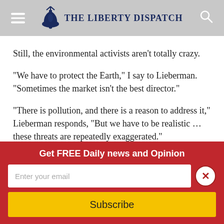The Liberty Dispatch
Still, the environmental activists aren’t totally crazy.
“We have to protect the Earth,” I say to Lieberman. “Sometimes the market isn’t the best director.”
“There is pollution, and there is a reason to address it,” Lieberman responds, “But we have to be realistic … these threats are repeatedly exaggerated.”
“
Get FREE Daily news and Opinion
Enter your email
Subscribe